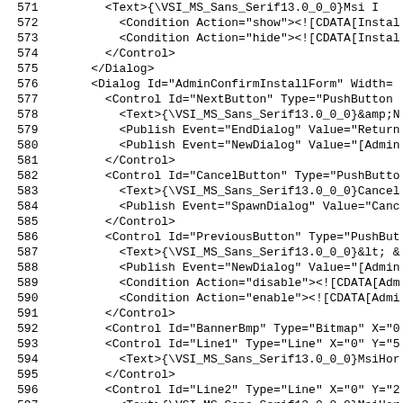Code listing lines 571-597, XML installer dialog definitions